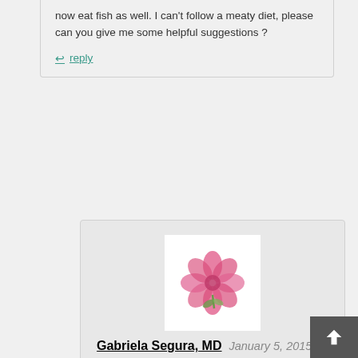now eat fish as well. I can't follow a meaty diet, please can you give me some helpful suggestions ?
reply
[Figure (photo): Circular pink flower illustration on white background, resembling an avatar image]
Gabriela Segura, MD  January 5, 2015
Hello Jill,
I'm sorry to read about your struggle. It might help to take some adrenal support in the form of adrenal cortex, French oak wood extract or any other mentioned in this article. But I think